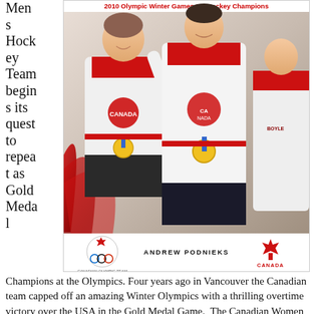Men s Hock ey Team begin s its quest to repea t as Gold Meda l
[Figure (photo): Book cover: '2010 Olympic Winter Games Ice Hockey Champions' by Andrew Podnieks, published by Canada Hockey. Shows Canadian hockey players celebrating with gold medals wearing Canada jerseys, with Canadian Olympic Team logo and Hockey Canada logo at bottom.]
Champions at the Olympics. Four years ago in Vancouver the Canadian team capped off an amazing Winter Olympics with a thrilling overtime victory over the USA in the Gold Medal Game.  The Canadian Women were equal to the men, once again